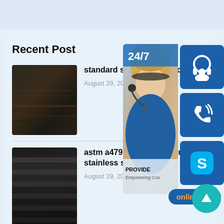Recent Post
[Figure (photo): Steel plate/bar thumbnail image 1]
standard steel bar sizes chart
August 29, 2020
[Figure (photo): Stacked steel plates thumbnail image 2]
astm a479 316l manufacturer stainless steel round bar 10mm
August 29, 2020
[Figure (photo): Steel bar thumbnail image 3 (partial)]
[Figure (photo): Customer service representative with headset, 24/7 support widget overlay]
[Figure (infographic): Online live chat widget with phone, Skype, and headset icons]